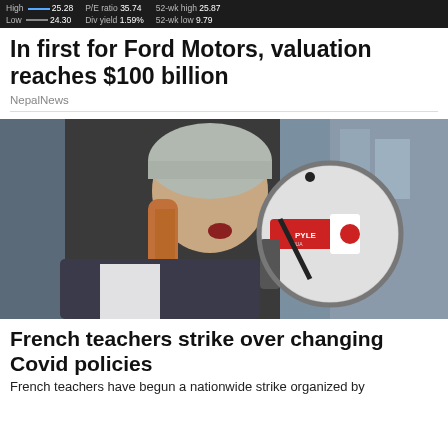High 25.28 | P/E ratio 35.74 | 52-wk high 25.87 | Low 24.30 | Div yield 1.59% | 52-wk low 9.79
In first for Ford Motors, valuation reaches $100 billion
NepalNews
[Figure (photo): Woman wearing a grey knit hat and dark jacket speaking into a red and white Pyle megaphone outdoors, with blurred urban background]
French teachers strike over changing Covid policies
French teachers have begun a nationwide strike organized by